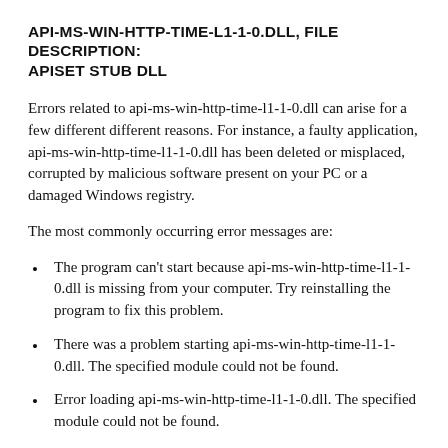API-MS-WIN-HTTP-TIME-L1-1-0.DLL, FILE DESCRIPTION: APISET STUB DLL
Errors related to api-ms-win-http-time-l1-1-0.dll can arise for a few different different reasons. For instance, a faulty application, api-ms-win-http-time-l1-1-0.dll has been deleted or misplaced, corrupted by malicious software present on your PC or a damaged Windows registry.
The most commonly occurring error messages are:
The program can't start because api-ms-win-http-time-l1-1-0.dll is missing from your computer. Try reinstalling the program to fix this problem.
There was a problem starting api-ms-win-http-time-l1-1-0.dll. The specified module could not be found.
Error loading api-ms-win-http-time-l1-1-0.dll. The specified module could not be found.
The code execution cannot proceed because api-ms-win-http-time-l1-1-0.dll was not found. Reinstalling the program may fix this problem.
api-ms-win-http-time-l1-1-0.dll is either not designed…